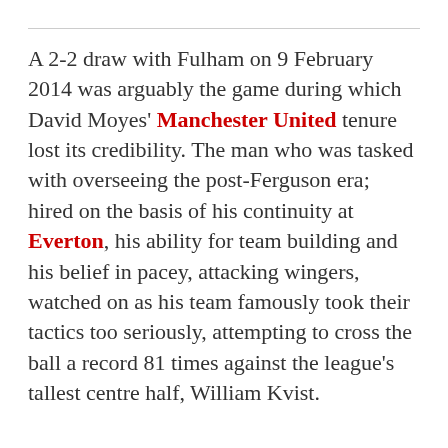A 2-2 draw with Fulham on 9 February 2014 was arguably the game during which David Moyes' Manchester United tenure lost its credibility. The man who was tasked with overseeing the post-Ferguson era; hired on the basis of his continuity at Everton, his ability for team building and his belief in pacey, attacking wingers, watched on as his team famously took their tactics too seriously, attempting to cross the ball a record 81 times against the league's tallest centre half, William Kvist.